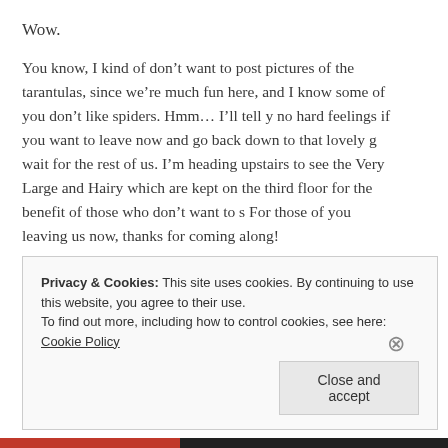Wow.
You know, I kind of don’t want to post pictures of the tarantulas, since we’re much fun here, and I know some of you don’t like spiders. Hmm… I’ll tell y no hard feelings if you want to leave now and go back down to that lovely g wait for the rest of us. I’m heading upstairs to see the Very Large and Hairy which are kept on the third floor for the benefit of those who don’t want to s For those of you leaving us now, thanks for coming along!
Stop by the comments (um… just scroll down REALLYREALLYFAST) me about the scariest thing you did this week, whether it actually frighte or just stretched you outside of your comfort zone. Heck, even if it’s just at the pictures down there, tell me about it!
For those of you brave enough to take a peek, scroll down…
–
Privacy & Cookies: This site uses cookies. By continuing to use this website, you agree to their use.
To find out more, including how to control cookies, see here: Cookie Policy
Close and accept